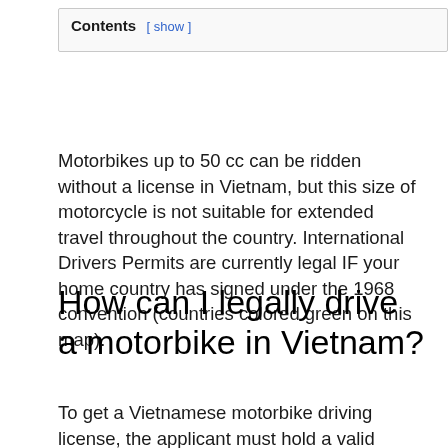Contents [ show ]
Motorbikes up to 50 cc can be ridden without a license in Vietnam, but this size of motorcycle is not suitable for extended travel throughout the country. International Drivers Permits are currently legal IF your home country has signed under the 1968 convention (countries colored green on this map).
How can I legally drive a motorbike in Vietnam?
To get a Vietnamese motorbike driving license, the applicant must hold a valid